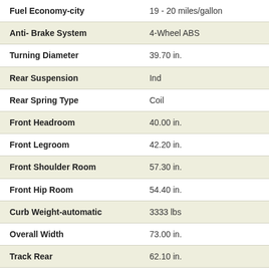| Specification | Value |
| --- | --- |
| Fuel Economy-city | 19 - 20 miles/gallon |
| Anti- Brake System | 4-Wheel ABS |
| Turning Diameter | 39.70 in. |
| Rear Suspension | Ind |
| Rear Spring Type | Coil |
| Front Headroom | 40.00 in. |
| Front Legroom | 42.20 in. |
| Front Shoulder Room | 57.30 in. |
| Front Hip Room | 54.40 in. |
| Curb Weight-automatic | 3333 lbs |
| Overall Width | 73.00 in. |
| Track Rear | 62.10 in. |
| Optional Seating | 5 |
| Cargo Volume | 17.00 cu.ft. |
| Maximum Towing | 1750 lbs |